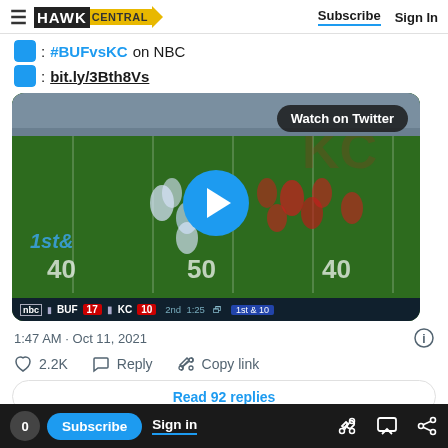HAWK CENTRAL | Subscribe | Sign In
📱 : #BUFvsKC on NBC
📱 : bit.ly/3Bth8Vs
[Figure (screenshot): NFL game video thumbnail showing a football field play between BUF (17) and KC (10) in 2nd quarter, 1:25 remaining. Shows 'Watch on Twitter' badge and blue play button. Scoreboard shows BUF 17, KC 10, 2nd, 1:25, 1st & 10.]
1:47 AM · Oct 11, 2021
♡ 2.2K   Reply   Copy link
Read 92 replies
0 | Subscribe | Sign in